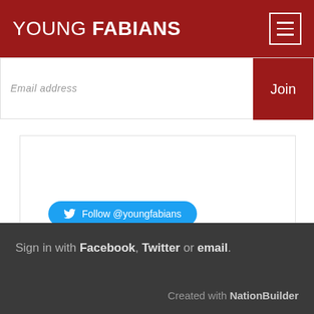YOUNG FABIANS
Email address
Join
[Figure (screenshot): Twitter Follow @youngfabians button]
Subscribe with RSS
Sign in with Facebook, Twitter or email. Created with NationBuilder